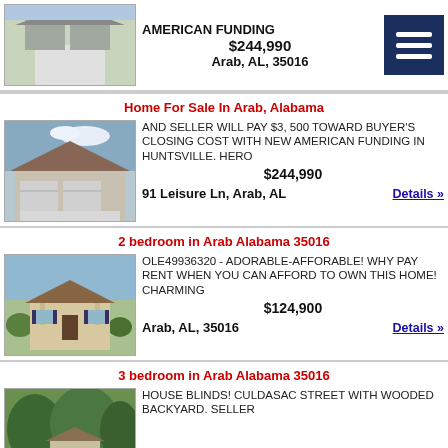[Figure (photo): House exterior photo, top partial listing - garage driveway]
AMERICAN FUNDING
$244,990
Arab, AL, 35016
[Figure (illustration): Menu/hamburger icon button, dark navy blue]
Home For Sale In Arab, Alabama
[Figure (photo): House exterior photo - single story home with double garage]
AND SELLER WILL PAY $3, 500 TOWARD BUYER'S CLOSING COST WITH NEW AMERICAN FUNDING IN HUNTSVILLE. HERO
$244,990
91 Leisure Ln, Arab, AL   Details »
2 bedroom in Arab Alabama 35016
[Figure (photo): House exterior photo - small cottage-style home with front porch]
OLE49936320 - ADORABLE-AFFORABLE! WHY PAY RENT WHEN YOU CAN AFFORD TO OWN THIS HOME! CHARMING
$124,900
Arab, AL, 35016   Details »
3 bedroom in Arab Alabama 35016
[Figure (photo): House exterior photo - home with trees, partial view]
HOUSE BLINDS! CULDASAC STREET WITH WOODED BACKYARD. SELLER